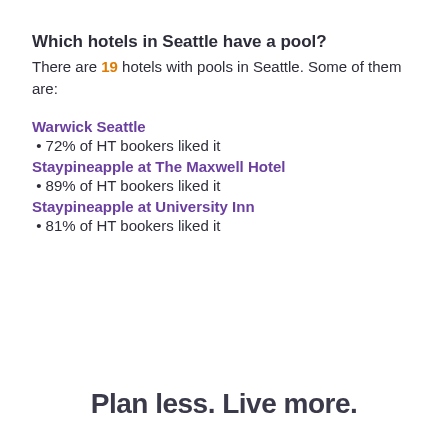Which hotels in Seattle have a pool?
There are 19 hotels with pools in Seattle. Some of them are:
Warwick Seattle
&nbsp;•&nbsp;72% of HT bookers liked it
Staypineapple at The Maxwell Hotel
&nbsp;•&nbsp;89% of HT bookers liked it
Staypineapple at University Inn
&nbsp;•&nbsp;81% of HT bookers liked it
Plan less. Live more.